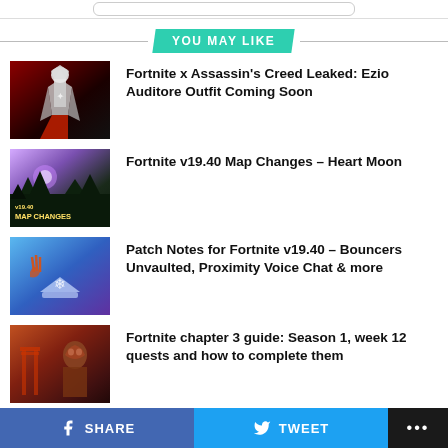YOU MAY LIKE
[Figure (photo): Fortnite Ezio Auditore character in white robes against dark red background]
Fortnite x Assassin's Creed Leaked: Ezio Auditore Outfit Coming Soon
[Figure (photo): Fortnite v19.40 Map Changes thumbnail with purple sky and trees, yellow text label]
Fortnite v19.40 Map Changes – Heart Moon
[Figure (photo): Patch Notes for Fortnite v19.40 thumbnail with blue background and bounce pad]
Patch Notes for Fortnite v19.40 – Bouncers Unvaulted, Proximity Voice Chat & more
[Figure (photo): Fortnite chapter 3 guide thumbnail with orange-red character artwork]
Fortnite chapter 3 guide: Season 1, week 12 quests and how to complete them
SHARE  TWEET  ...